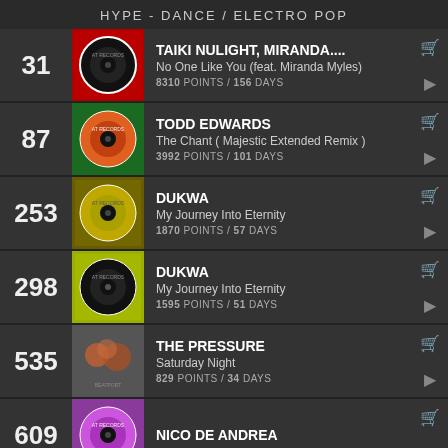HYPE - DANCE / ELECTRO POP
31 | TAIKI NULIGHT, MIRANDA.... | No One Like You (feat. Miranda Myles) | 8310 POINTS / 156 DAYS
87 | TODD EDWARDS | The Chant ( Majestic Extended Remix ) | 3992 POINTS / 101 DAYS
253 | DUKWA | My Journey Into Eternity | 1870 POINTS / 57 DAYS
298 | DUKWA | My Journey Into Eternity | 1595 POINTS / 51 DAYS
535 | THE PRESSURE | Saturday Night | 829 POINTS / 34 DAYS
609 | NICO DE ANDREA
POINTS are calculated based on a Song's daily position in the BEATPORT Top 100 Charts. If a track is at position 1, it gets 100 points, if it is in position 100, it gets 1 point. Charts are now updated daily! This site is not affiliated with BEATPORT
TWITTER
FACEBO